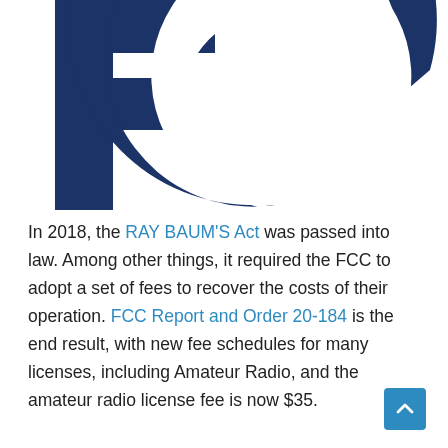[Figure (logo): FCC (Federal Communications Commission) logo in dark navy blue, showing partial letterforms F and C with concentric arc shapes, cropped at top of page]
In 2018, the RAY BAUM'S Act was passed into law. Among other things, it required the FCC to adopt a set of fees to recover the costs of their operation. FCC Report and Order 20-184 is the end result, with new fee schedules for many licenses, including Amateur Radio, and the amateur radio license fee is now $35.